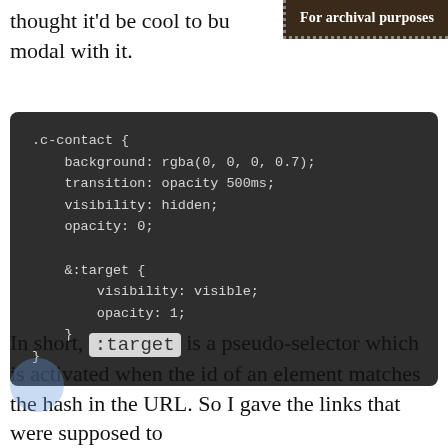thought it'd be cool to build a modal with it.
For archival purposes
.c-contact {
    background: rgba(0, 0, 0, 0.7);
    transition: opacity 500ms;
    visibility: hidden;
    opacity: 0;

    &:target {
        visibility: visible;
        opacity: 1;
    }
}
In short, :target is a pseudo-selector which is activated when the id of an element matches the hash in the URL. So I gave the links that were supposed to